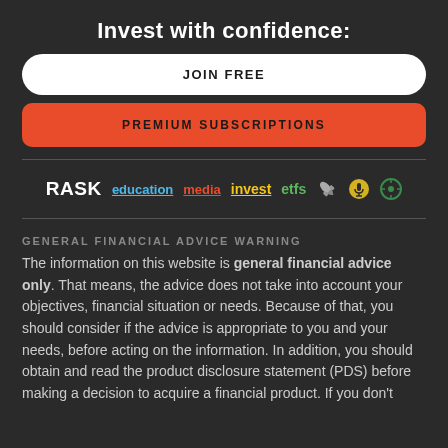Invest with confidence:
JOIN FREE
PREMIUM SUBSCRIPTIONS
[Figure (logo): RASK brand logos row: RASK, education, media, invest, etfs, and icons (rocket, microphone, wheel)]
GENERAL FINANCIAL ADVICE WARNING
The information on this website is general financial advice only. That means, the advice does not take into account your objectives, financial situation or needs. Because of that, you should consider if the advice is appropriate to you and your needs, before acting on the information. In addition, you should obtain and read the product disclosure statement (PDS) before making a decision to acquire a financial product. If you don't